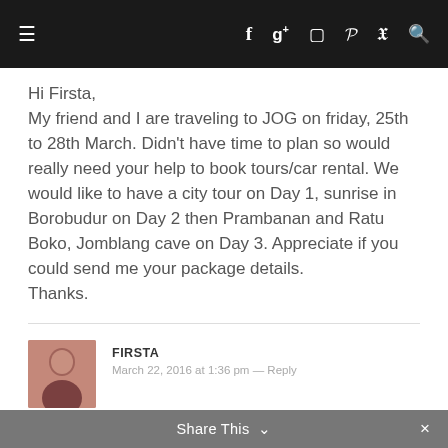≡  f  g+  ◻  p  𝕏  🔍
Hi Firsta,
My friend and I are traveling to JOG on friday, 25th to 28th March. Didn't have time to plan so would really need your help to book tours/car rental. We would like to have a city tour on Day 1, sunrise in Borobudur on Day 2 then Prambanan and Ratu Boko, Jomblang cave on Day 3. Appreciate if you could send me your package details.
Thanks.
FIRSTA
March 22, 2016 at 1:36 pm — Reply
Share This ∨  ×